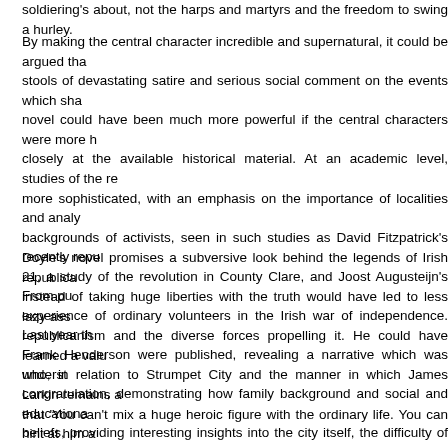soldiering's about, not the harps and martyrs and the freedom to swing a hurley.
By making the central character incredible and supernatural, it could be argued that stools of devastating satire and serious social comment on the events which sha novel could have been much more powerful if the central characters were more h closely at the available historical material. At an academic level, studies of the re more sophisticated, with an emphasis on the importance of localities and analy backgrounds of activists, seen in such studies as David Fitzpatrick's recently repu 21, a study of the revolution in County Clare, and Joost Augusteijn's From pu experience of ordinary volunteers in the Irish war of independence. Last year th Frank Henderson were published, revealing a narrative which was underst congratulation, demonstrating how family background and social and educationa beliefs, providing interesting insights into the city itself, the difficulty of squarin Catholicism, the challenge of sacrificing a civilian career to nationalist involvemen killings wracked conscience.
Doyle's novel promises a subversive look behind the legends of Irish republica instead of taking huge liberties with the truth would have led to less lazy ass republicanism and the diverse forces propelling it. He could have learned a valu who, in relation to Strumpet City and the manner in which James Larkin remains a that 'You can't mix a huge heroic figure with the ordinary life. You can hint at him a things, but you can't have him as true flesh and blood'. Nevertheless, the book qu about the architects of this state who in their single-minded pursuit of political self- to say about social need and want. After more than seventy-five years of independ